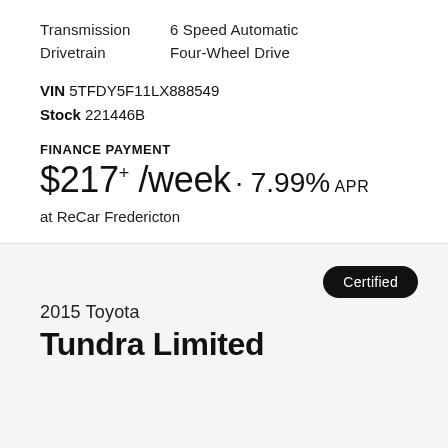Transmission  6 Speed Automatic
Drivetrain  Four-Wheel Drive
VIN 5TFDY5F11LX888549
Stock 221446B
FINANCE PAYMENT
$217+ /week · 7.99% APR
at ReCar Fredericton
Certified
2015 Toyota
Tundra Limited